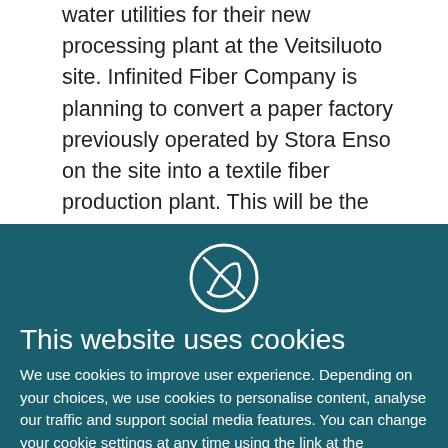water utilities for their new processing plant at the Veitsiluoto site. Infinited Fiber Company is planning to convert a paper factory previously operated by Stora Enso on the site into a textile fiber production plant. This will be the company's first commercial-scale plant. The fiber production processes require steam energy and water
[Figure (logo): Circular icon with a stylized letter S and a diagonal line through it, white outline on teal background]
This website uses cookies
We use cookies to improve user experience. Depending on your choices, we use cookies to personalise content, analyse our traffic and support social media features. You can change your cookie settings at any time using the link at the